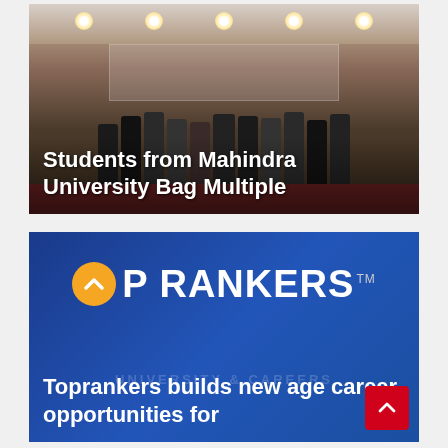[Figure (photo): Group photo of students and faculty at Mahindra University, standing in a hall with ceiling spotlights, some holding certificates/awards. Dark background with reddish floor.]
Students from Mahindra University Bag Multiple
[Figure (logo): Top Rankers logo on blue background — orange circle with white chevron/up-arrow icon, bold white uppercase text 'TOP RANKERS' with TM mark. Faded 'UNIVERSITY & CAREERS' text in background.]
Toprankers builds new age career opportunities for